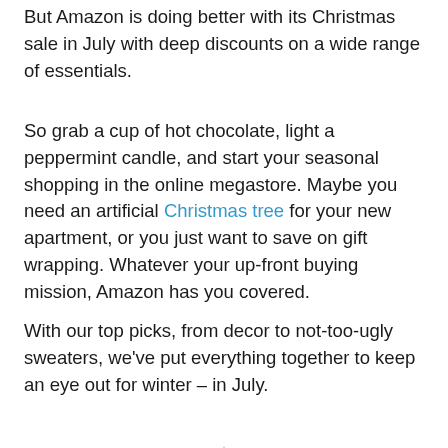But Amazon is doing better with its Christmas sale in July with deep discounts on a wide range of essentials.
So grab a cup of hot chocolate, light a peppermint candle, and start your seasonal shopping in the online megastore. Maybe you need an artificial Christmas tree for your new apartment, or you just want to save on gift wrapping. Whatever your up-front buying mission, Amazon has you covered.
With our top picks, from decor to not-too-ugly sweaters, we've put everything together to keep an eye out for winter – in July.
[Figure (photo): A tall, slim artificial Christmas tree decorated with small warm lights, shown against a white background]